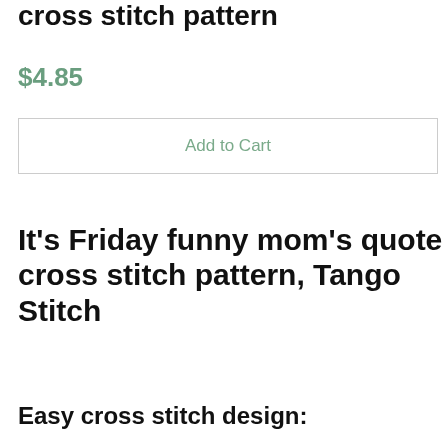cross stitch pattern
$4.85
Add to Cart
It's Friday funny mom's quote cross stitch pattern, Tango Stitch
Easy cross stitch design: